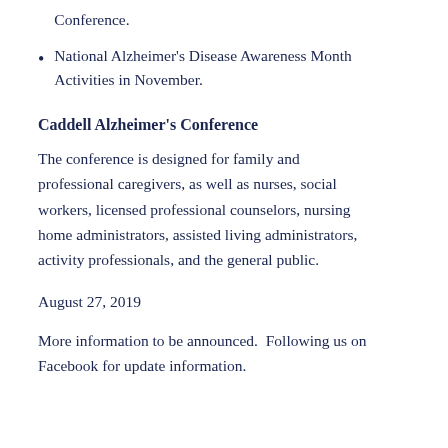Conference.
National Alzheimer's Disease Awareness Month Activities in November.
Caddell Alzheimer's Conference
The conference is designed for family and professional caregivers, as well as nurses, social workers, licensed professional counselors, nursing home administrators, assisted living administrators, activity professionals, and the general public.
August 27, 2019
More information to be announced.  Following us on Facebook for update information.